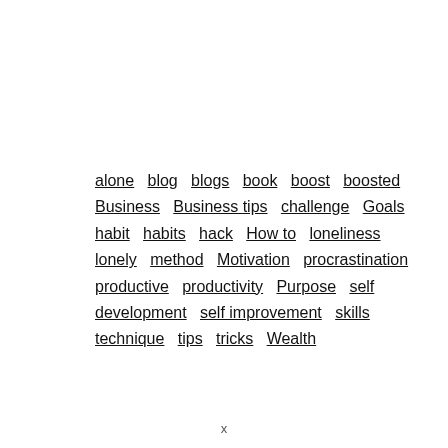alone blog blogs book boost boosted Business Business tips challenge Goals habit habits hack How to loneliness lonely method Motivation procrastination productive productivity Purpose self development self improvement skills technique tips tricks Wealth
x